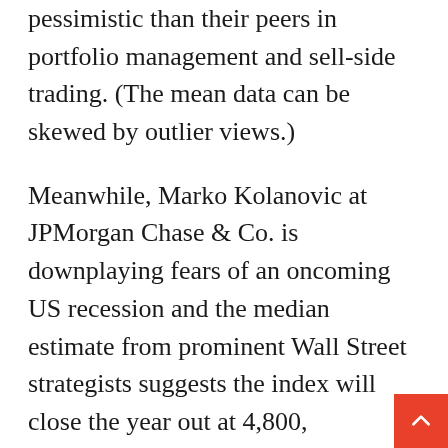pessimistic than their peers in portfolio management and sell-side trading. (The mean data can be skewed by outlier views.)
Meanwhile, Marko Kolanovic at JPMorgan Chase & Co. is downplaying fears of an oncoming US recession and the median estimate from prominent Wall Street strategists suggests the index will close the year out at 4,800, suggesting hopes for a market bounce later this year. For Kristina Hooper, while an economic downturn is “pretty much priced in,” she doesn’t see that happening.
“Sentiment is very negative, which supports the view we’re closer to the bottom,” said the chie